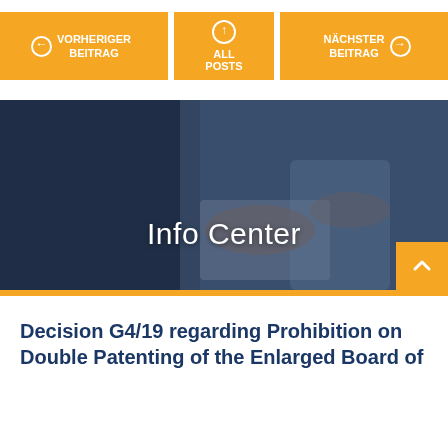[Figure (screenshot): Navigation buttons row with three orange buttons: left arrow 'VORHERIGER BEITRAG', center 'ALL POSTS' with up arrow circle, right 'NÄCHSTER BEITRAG' with right arrow]
[Figure (photo): Hero banner photo showing two people looking at documents/tablet, with 'Info Center' text overlay and orange bottom bar]
Decision G4/19 regarding Prohibition on Double Patenting of the Enlarged Board of